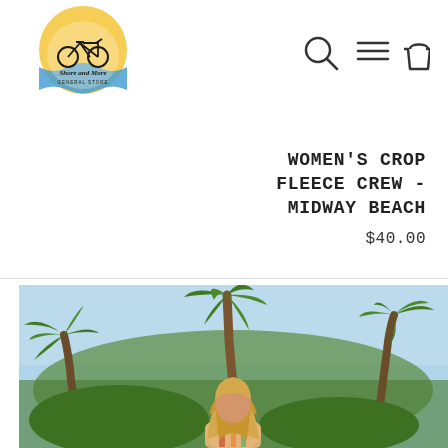[Figure (logo): Shore and More General Store logo — circular badge with sun, bicycle, waves, and script text]
[Figure (other): Navigation icons: search magnifying glass, hamburger menu, shopping bag]
WOMEN'S CROP FLEECE CREW - MIDWAY BEACH
$40.00
[Figure (photo): Woman with long blonde hair seen from behind, wearing a colorful garment, surrounded by tropical palm trees against a blue sky]